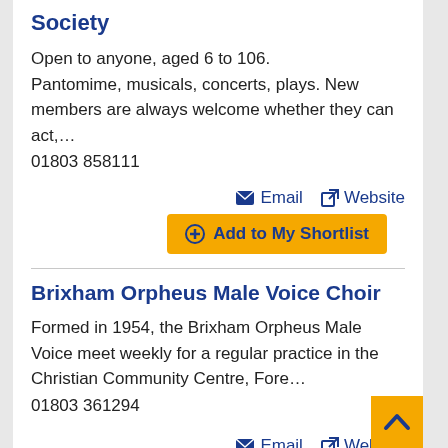Society
Open to anyone, aged 6 to 106. Pantomime, musicals, concerts, plays. New members are always welcome whether they can act,…
01803 858111
Email
Website
Add to My Shortlist
Brixham Orpheus Male Voice Choir
Formed in 1954, the Brixham Orpheus Male Voice meet weekly for a regular practice in the Christian Community Centre, Fore…
01803 361294
Email
Website